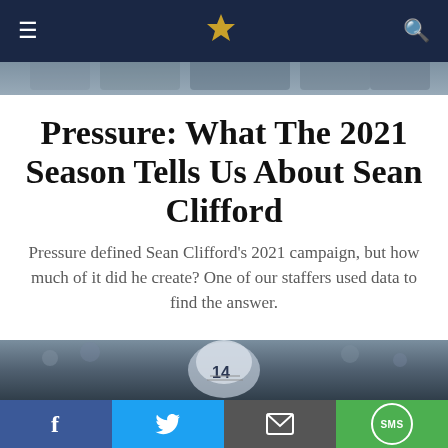Navigation bar with menu, logo, and search icons
[Figure (photo): Top hero image showing football players/coaches in Penn State uniforms, partially obscured by navigation bar]
Pressure: What The 2021 Season Tells Us About Sean Clifford
Pressure defined Sean Clifford's 2021 campaign, but how much of it did he create? One of our staffers used data to find the answer.
[Figure (photo): Hero photo of Penn State quarterback Sean Clifford wearing jersey number 14, with crowd in background]
Social sharing buttons: Facebook, Twitter, Email, SMS